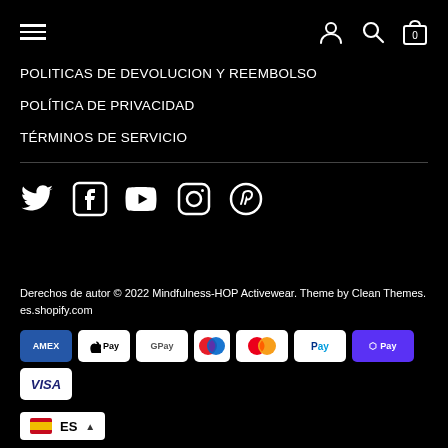Navigation bar with hamburger menu and icons (user, search, cart)
POLITICAS DE DEVOLUCION Y REEMBOLSO
POLÍTICA DE PRIVACIDAD
TÉRMINOS DE SERVICIO
[Figure (other): Social media icons: Twitter, Facebook, YouTube, Instagram, Pinterest]
Derechos de autor © 2022 Mindfulness-HOP Activewear. Theme by Clean Themes. es.shopify.com
[Figure (other): Payment method badges: AMEX, Apple Pay, Google Pay, Maestro, Mastercard, PayPal, Shop Pay, Visa]
ES (language selector with Spanish flag)